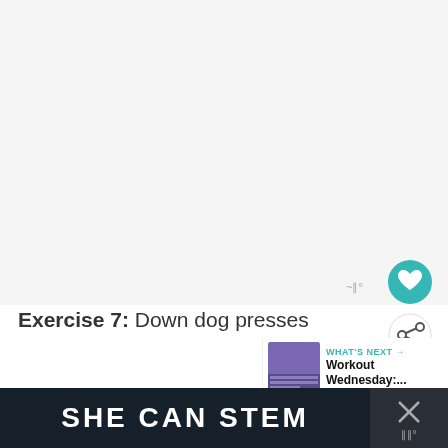Exercise 7: Down dog presses
[Figure (screenshot): Teal heart/favorite button circle and white share button circle on right side of screen, with antenna/signal icon nearby]
[Figure (screenshot): WHAT'S NEXT panel showing thumbnail of workout video and text 'Workout Wednesday:...']
[Figure (photo): Bottom portion of an outdoor grass field, dark shadow at left]
[Figure (screenshot): Bottom dark navy banner with 'SHE CAN STEM' text in white bold uppercase, and an X close button on the right with an icon below it]